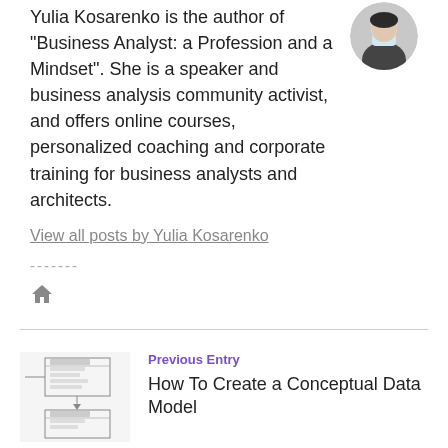Yulia Kosarenko is the author of "Business Analyst: a Profession and a Mindset". She is a speaker and business analysis community activist, and offers online courses, personalized coaching and corporate training for business analysts and architects.
View all posts by Yulia Kosarenko
-------
[Figure (illustration): Home icon (house silhouette)]
[Figure (photo): Thumbnail image of a conceptual data model diagram]
Previous Entry
How To Create a Conceptual Data Model
[Figure (photo): Thumbnail image for The Biggest Resume Mistake post]
Next Entry
The Biggest Resume Mistake